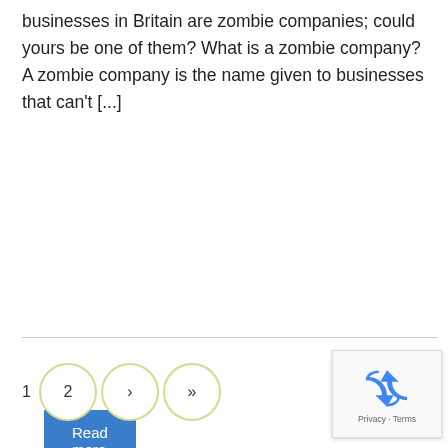businesses in Britain are zombie companies; could yours be one of them? What is a zombie company? A zombie company is the name given to businesses that can't [...]
Read more
1  2  ›  »
[Figure (other): reCAPTCHA badge showing recycling-style arrows logo with 'Privacy - Terms' text]